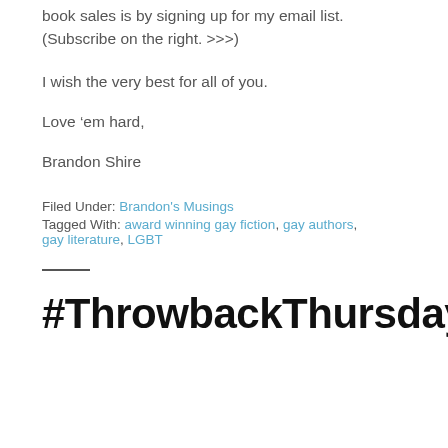book sales is by signing up for my email list. (Subscribe on the right. >>>)
I wish the very best for all of you.
Love ‘em hard,
Brandon Shire
Filed Under: Brandon's Musings
Tagged With: award winning gay fiction, gay authors, gay literature, LGBT
#ThrowbackThursday